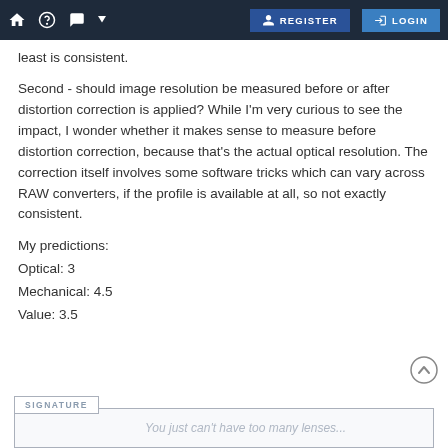🏠 ? 💬 REGISTER LOGIN
least is consistent.
Second - should image resolution be measured before or after distortion correction is applied? While I'm very curious to see the impact, I wonder whether it makes sense to measure before distortion correction, because that's the actual optical resolution. The correction itself involves some software tricks which can vary across RAW converters, if the profile is available at all, so not exactly consistent.
My predictions:
Optical: 3
Mechanical: 4.5
Value: 3.5
SIGNATURE
You just can't have too many lenses...